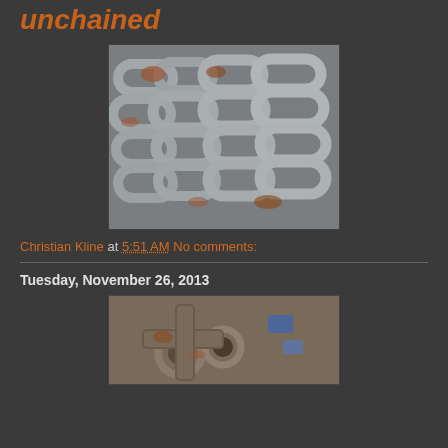unchained
[Figure (photo): Close-up photograph of rusted and galvanized heavy steel chain links piled together]
Christian Kline at 5:51 AM   No comments:
Tuesday, November 26, 2013
[Figure (photo): Close-up photograph of rusty metal pipes and fittings with some colored markings]